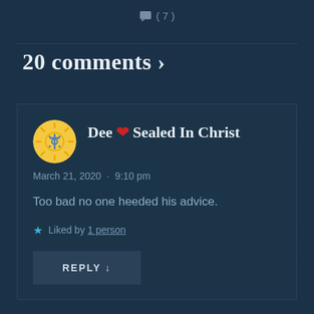( 7 )
20 comments ›
Dee ❤ Sealed In Christ
March 21, 2020 · 9:10 pm

Too bad no one heeded his advice.

★ Liked by 1 person

REPLY ↓